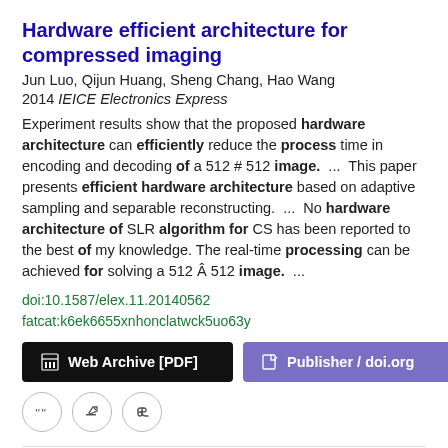Hardware efficient architecture for compressed imaging
Jun Luo, Qijun Huang, Sheng Chang, Hao Wang
2014 IEICE Electronics Express
Experiment results show that the proposed hardware architecture can efficiently reduce the process time in encoding and decoding of a 512 # 512 image.  ...  This paper presents efficient hardware architecture based on adaptive sampling and separable reconstructing.  ...  No hardware architecture of SLR algorithm for CS has been reported to the best of my knowledge. The real-time processing can be achieved for solving a 512 Â 512 image.  ...
doi:10.1587/elex.11.20140562
fatcat:k6ek6655xnhonclatwck5uo63y
[Figure (other): Web Archive [PDF] and Publisher / doi.org buttons]
[Figure (other): Three icon circle buttons: quote, edit, link]
Special issue: Design and architectures for real-time signal and image processing
Michael Huebner